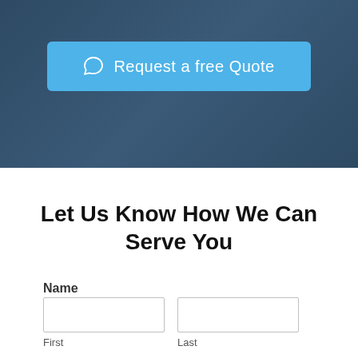[Figure (screenshot): Blue button with chat bubble icon and text 'Request a free Quote' on a dark blue-grey background header section]
Let Us Know How We Can Serve You
Name
First
Last